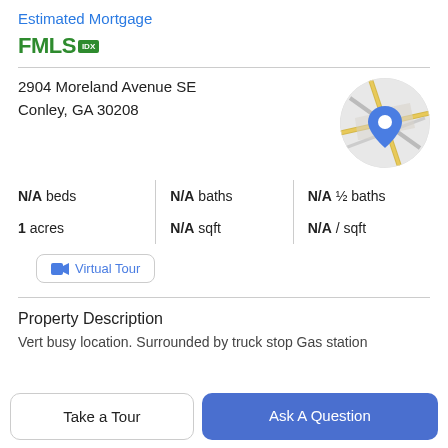Estimated Mortgage
[Figure (logo): FMLS IDX logo in green]
2904 Moreland Avenue SE
Conley, GA 30208
[Figure (map): Circular map thumbnail showing location with blue pin marker]
N/A beds | N/A baths | N/A ½ baths
1 acres | N/A sqft | N/A / sqft
Virtual Tour
Property Description
Vert busy location. Surrounded by truck stop Gas station
Take a Tour
Ask A Question